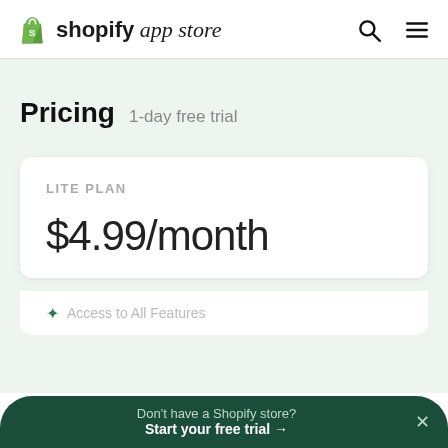shopify app store
Pricing  1-day free trial
LITE PLAN
$4.99/month
Don't have a Shopify store? Start your free trial →
Access to All Features